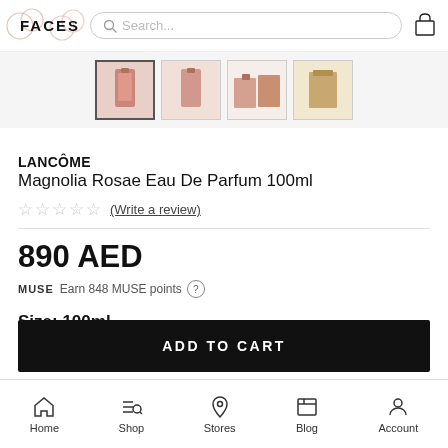FACES — Search bar — Cart icon
[Figure (photo): Four product thumbnail images of Lancôme Magnolia Rosae Eau De Parfum in a row; first thumbnail is selected/active]
LANCÔME
Magnolia Rosae Eau De Parfum 100ml
☆☆☆☆☆ (Write a review)
890 AED
MUSE  Earn 848 MUSE points ?
Size: 100ml
ADD TO CART
Home  Shop  Stores  Blog  Account